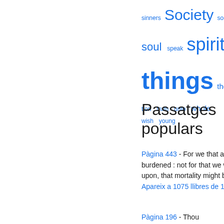[Figure (infographic): Word cloud of terms in blue with varying font sizes: sinners, Society, soon, soul, speak, spirit, thee, things, thou, thought, tion, truth, unto, whole, wish, young]
Passatges populars
Pàgina 443 - For we that are in this tabernacle do groan, being burdened : not for that we would be unclothed, but clothed upon, that mortality might be swallowed up of life. Apareix a 1075 llibres de 1670-2008
Pàgina 196 - Thou